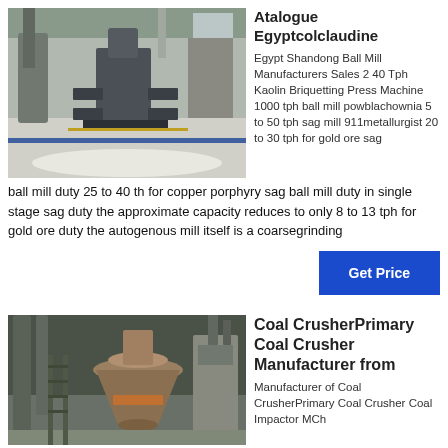[Figure (photo): Industrial ball mill / grinding machine in a factory setting with white pellets/balls on the floor]
Atalogue Egyptcolclaudine
Egypt Shandong Ball Mill Manufacturers Sales 2 40 Tph Kaolin Briquetting Press Machine 1000 tph ball mill powblachownia 5 to 50 tph sag mill 911metallurgist 20 to 30 tph for gold ore sag ball mill duty 25 to 40 th for copper porphyry sag ball mill duty in single stage sag duty the approximate capacity reduces to only 8 to 13 tph for gold ore duty the autogenous mill itself is a coarsegrinding
[Figure (photo): Industrial coal crusher / processing plant with large cylindrical machinery and pipes]
Coal CrusherPrimary Coal Crusher Manufacturer from
Manufacturer of Coal CrusherPrimary Coal Crusher Coal Impactor MCh